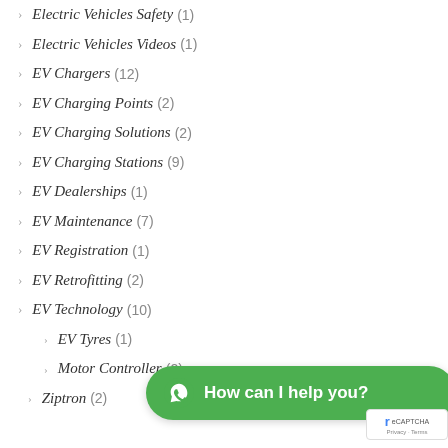Electric Vehicles Safety (1)
Electric Vehicles Videos (1)
EV Chargers (12)
EV Charging Points (2)
EV Charging Solutions (2)
EV Charging Stations (9)
EV Dealerships (1)
EV Maintenance (7)
EV Registration (1)
EV Retrofitting (2)
EV Technology (10)
EV Tyres (1)
Motor Controller (2)
Ziptron (2)